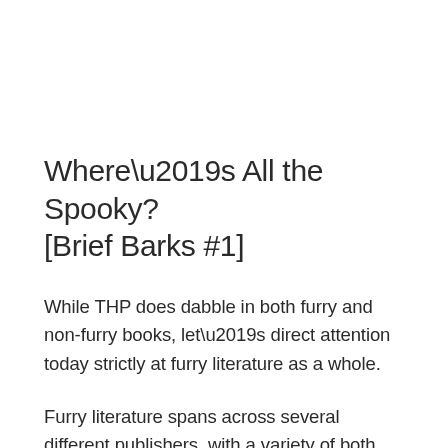Where’s All the Spooky? [Brief Barks #1]
While THP does dabble in both furry and non-furry books, let’s direct attention today strictly at furry literature as a whole.
Furry literature spans across several different publishers, with a variety of both singular and collaborative pieces with a vast selection of authors to choose from, which leads to a variety of genre being explored. Or is there!?